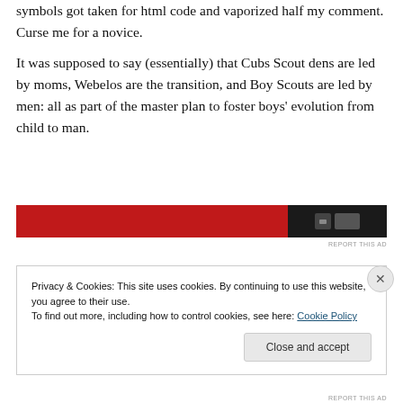symbols got taken for html code and vaporized half my comment. Curse me for a novice.
It was supposed to say (essentially) that Cubs Scout dens are led by moms, Webelos are the transition, and Boy Scouts are led by men: all as part of the master plan to foster boys' evolution from child to man.
[Figure (other): Red advertisement banner with dark overlay on right side showing a small icon]
REPORT THIS AD
Privacy & Cookies: This site uses cookies. By continuing to use this website, you agree to their use.
To find out more, including how to control cookies, see here: Cookie Policy
Close and accept